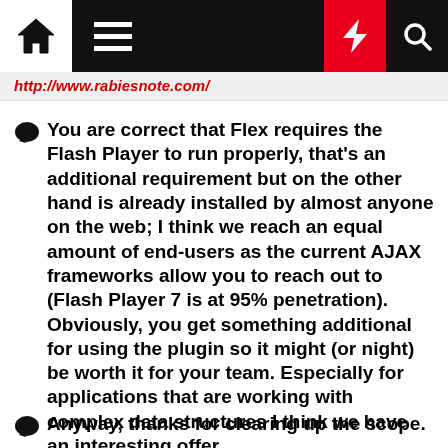Navigation bar with home, menu, lightning, and search icons
http://www.rabiesnote.com/
You are correct that Flex requires the Flash Player to run properly, that's an additional requirement but on the other hand is already installed by almost anyone on the web; I think we reach an equal amount of end-users as the current AJAX frameworks allow you to reach out to (Flash Player 7 is at 95% penetration). Obviously, you get something additional for using the plugin so it might (or night) be worth it for your team. Especially for applications that are working with complex data structures I think we have an interesting offer.
Anyway, thanks for clearing up the scope.